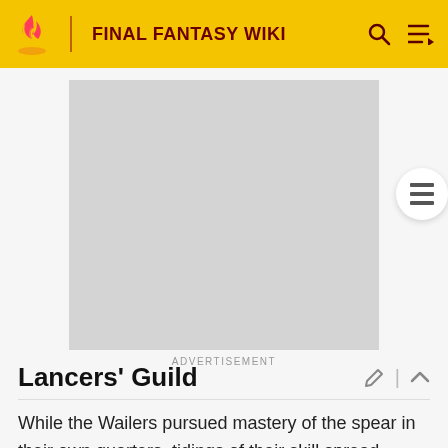FINAL FANTASY WIKI
[Figure (screenshot): Gray placeholder advertisement rectangle]
ADVERTISEMENT
Lancers' Guild
While the Wailers pursued mastery of the spear in their own quarters, tidings of their skill spread throughout